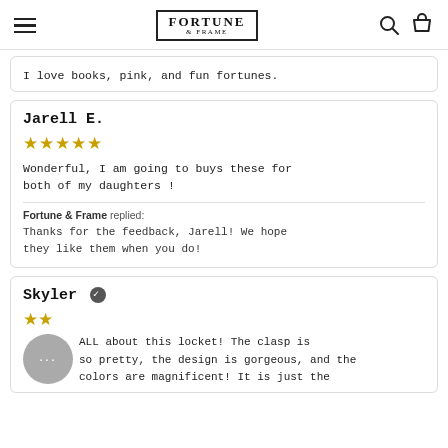Fortune & Frame
I love books, pink, and fun fortunes.
Jarell E. — 5 stars — Wonderful, I am going to buys these for both of my daughters ! Fortune & Frame replied: Thanks for the feedback, Jarell! We hope they like them when you do!
Skyler (verified) — 2 stars — ALL about this locket! The clasp is so pretty, the design is gorgeous, and the colors are magnificent! It is just the